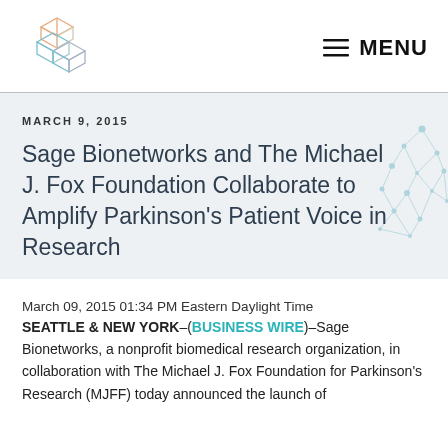[Figure (logo): Sage Bionetworks geometric cube logo made of three overlapping outlined cubes in orange, teal, and gray tones]
≡ MENU
MARCH 9, 2015
Sage Bionetworks and The Michael J. Fox Foundation Collaborate to Amplify Parkinson's Patient Voice in Research
[Figure (illustration): Light blue network/molecular graph illustration with dots and connecting lines in the upper right of the content banner area]
March 09, 2015 01:34 PM Eastern Daylight Time
SEATTLE & NEW YORK–(BUSINESS WIRE)–Sage Bionetworks, a nonprofit biomedical research organization, in collaboration with The Michael J. Fox Foundation for Parkinson's Research (MJFF) today announced the launch of